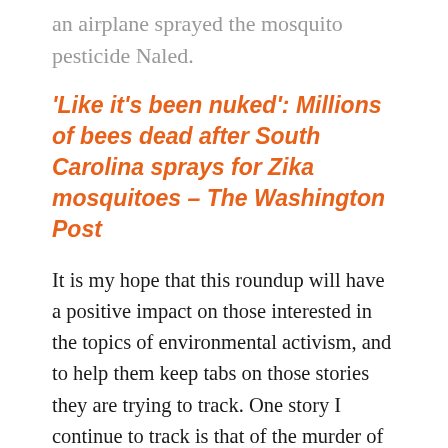A single bee farm lost 46 hives after an airplane sprayed the mosquito pesticide Naled.
'Like it's been nuked': Millions of bees dead after South Carolina sprays for Zika mosquitoes – The Washington Post
It is my hope that this roundup will have a positive impact on those interested in the topics of environmental activism, and to help them keep tabs on those stories they are trying to track. One story I continue to track is that of the murder of Berta Caceres. We're still awaiting a trial, but in the meantime, it appears there have been more arrests...